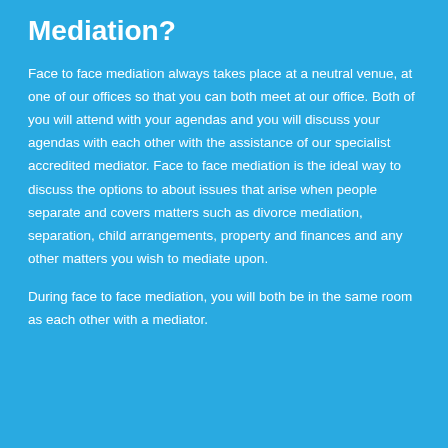Mediation?
Face to face mediation always takes place at a neutral venue, at one of our offices so that you can both meet at our office.  Both of you will attend with your agendas and you will discuss your agendas with each other with the assistance of our specialist accredited mediator.  Face to face mediation is the ideal way to discuss the options to about issues that arise when people separate and covers matters such as divorce mediation, separation, child arrangements, property and finances and any other matters you wish to mediate upon.
During face to face mediation, you will both be in the same room as each other with a mediator.